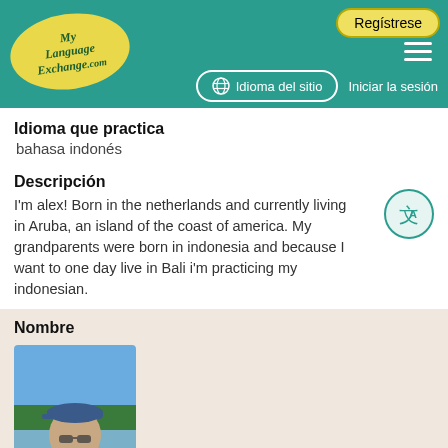[Figure (screenshot): MyLanguageExchange.com website header with teal background, yellow oval logo, Regístrese button, hamburger menu, globe icon with 'Idioma del sitio' button, and 'Iniciar la sesión' link]
Idioma que practica
bahasa indonés
Descripción
I'm alex! Born in the netherlands and currently living in Aruba, an island of the coast of america. My grandparents were born in indonesia and because I want to one day live in Bali i'm practicing my indonesian.
Nombre
[Figure (photo): Profile photo of a man wearing a blue cap and light jacket, outdoors with blue sky and trees in background]